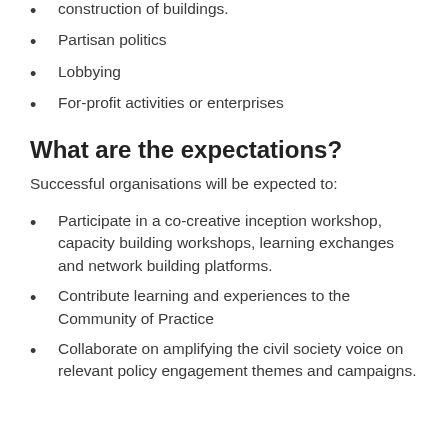construction of buildings.
Partisan politics
Lobbying
For-profit activities or enterprises
What are the expectations?
Successful organisations will be expected to:
Participate in a co-creative inception workshop, capacity building workshops, learning exchanges and network building platforms.
Contribute learning and experiences to the Community of Practice
Collaborate on amplifying the civil society voice on relevant policy engagement themes and campaigns.